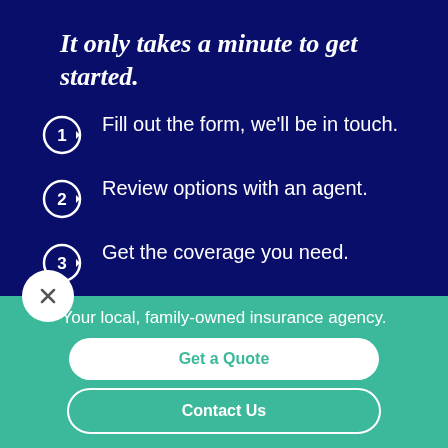It only takes a minute to get started.
Fill out the form, we'll be in touch.
Review options with an agent.
Get the coverage you need.
Would you rather discuss this in
Your local, family-owned insurance agency.
Get a Quote
Contact Us